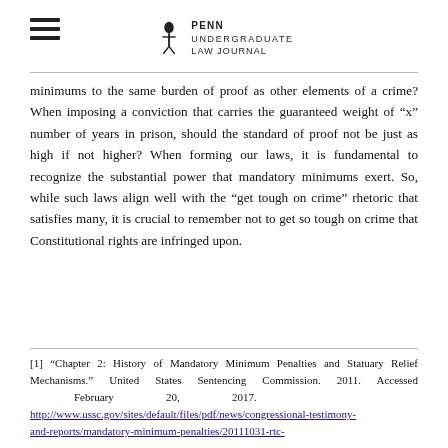Penn Undergraduate Law Journal
minimums to the same burden of proof as other elements of a crime? When imposing a conviction that carries the guaranteed weight of “x” number of years in prison, should the standard of proof not be just as high if not higher? When forming our laws, it is fundamental to recognize the substantial power that mandatory minimums exert. So, while such laws align well with the “get tough on crime” rhetoric that satisfies many, it is crucial to remember not to get so tough on crime that Constitutional rights are infringed upon.
[1] “Chapter 2: History of Mandatory Minimum Penalties and Statuary Relief Mechanisms.” United States Sentencing Commission. 2011. Accessed February 20, 2017. http://www.ussc.gov/sites/default/files/pdf/news/congressional-testimony-and-reports/mandatory-minimum-penalties/20111031-rtc-